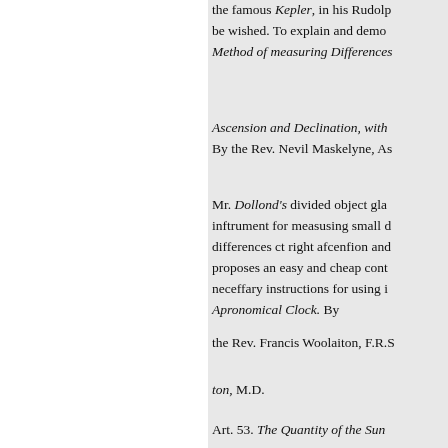the famous Kepler, in his Rudolp... be wished. To explain and demo... Method of measuring Differences...
Ascension and Declination, with... By the Rev. Nevil Maskelyne, As...
Mr. Dollond's divided object gla... inftrument for measusing small d... differences ct right afcenfion and... proposes an easy and cheap cont... neceffary instructions for using i... Apronomical Clock. By
the Rev. Francis Woolaiton, F.R.S...
ton, M.D.
Art. 53. The Quantity of the Sun...
Observations of the Transit of Ve... Aftronomy in the University of O...
Mr. Hornsby makes the parallax... whence the mean parallax will b... 3985 English miles, the mean di...